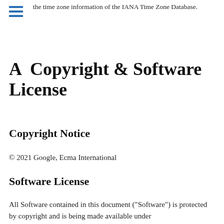the time zone information of the IANA Time Zone Database.
A  Copyright & Software License
Copyright Notice
© 2021 Google, Ecma International
Software License
All Software contained in this document ("Software") is protected by copyright and is being made available under